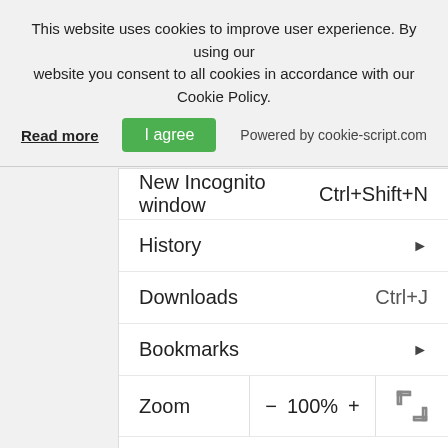This website uses cookies to improve user experience. By using our website you consent to all cookies in accordance with our Cookie Policy.
Read more | I agree | Powered by cookie-script.com
New Incognito window   Ctrl+Shift+N
History ▶
Downloads   Ctrl+J
Bookmarks ▶
Zoom  −  100%  +  ⛶
Print...   Ctrl+P
Cast...
Find...   Ctrl+F
More tools ▶
Edit   Cut   Copy   Paste